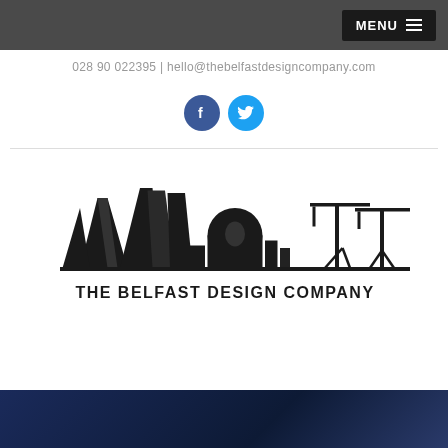MENU ☰
028 90 022395 | hello@thebelfastdesigncompany.com
[Figure (logo): Facebook and Twitter social media icon buttons]
[Figure (logo): The Belfast Design Company logo — black skyline silhouette featuring Titanic Belfast, a dome building, and Harland & Wolff cranes, with text 'THE BELFAST DESIGN COMPANY' beneath]
[Figure (photo): Dark blue/navy photograph strip at the bottom of the page, partially visible]